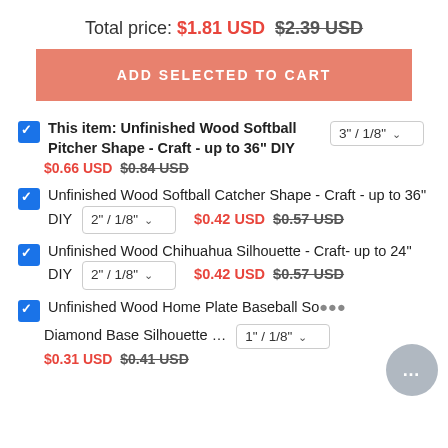Total price: $1.81 USD  $2.39 USD
ADD SELECTED TO CART
This item: Unfinished Wood Softball Pitcher Shape - Craft - up to 36" DIY  [3" / 1/8" dropdown]  $0.66 USD  $0.84 USD
Unfinished Wood Softball Catcher Shape - Craft - up to 36" DIY  [2" / 1/8" dropdown]  $0.42 USD  $0.57 USD
Unfinished Wood Chihuahua Silhouette - Craft- up to 24" DIY  [2" / 1/8" dropdown]  $0.42 USD  $0.57 USD
Unfinished Wood Home Plate Baseball So... Diamond Base Silhouette ...  [1" / 1/8" dropdown]  $0.31 USD  $0.41 USD